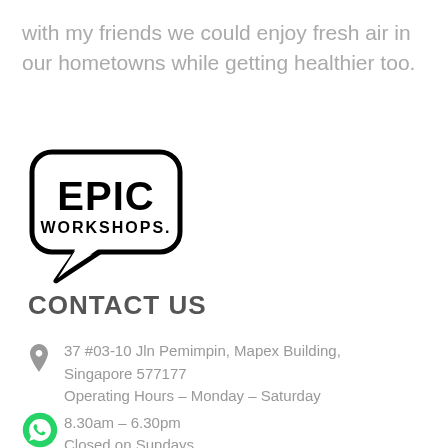with my friends we could enjoy fresh air in our hometowns while getting healthier too.
[Figure (logo): EPIC WORKSHOPS logo — speech bubble shape with bold 'EPIC' text on top and 'WORKSHOPS.' in smaller text below, black outline on white background]
CONTACT US
37 #03-10 Jln Pemimpin, Mapex Building, Singapore 577177
Operating Hours – Monday – Saturday
8.30am – 6.30pm
Closed on Sundays